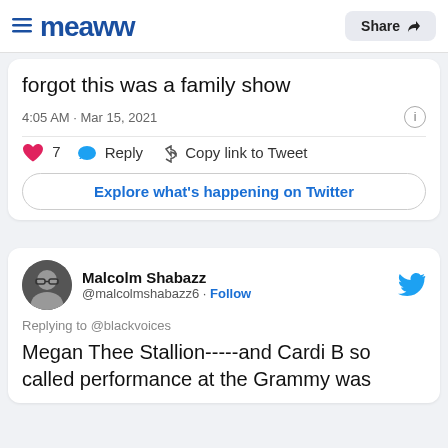Meaww | Share
forgot this was a family show
4:05 AM · Mar 15, 2021
♥ 7   Reply   Copy link to Tweet
Explore what's happening on Twitter
Malcolm Shabazz @malcolmshabazz6 · Follow
Replying to @blackvoices
Megan Thee Stallion-----and Cardi B so called performance at the Grammy was EMBARRASSING to black...